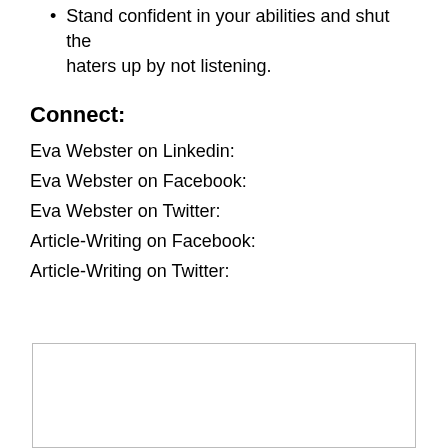Stand confident in your abilities and shut the haters up by not listening.
Connect:
Eva Webster on Linkedin:
Eva Webster on Facebook:
Eva Webster on Twitter:
Article-Writing on Facebook:
Article-Writing on Twitter:
[Figure (other): Empty bordered rectangle box at bottom of page]